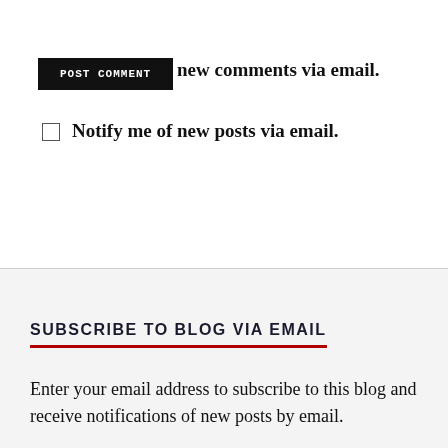POST COMMENT (button)
Notify me of new comments via email.
Notify me of new posts via email.
SUBSCRIBE TO BLOG VIA EMAIL
Enter your email address to subscribe to this blog and receive notifications of new posts by email.